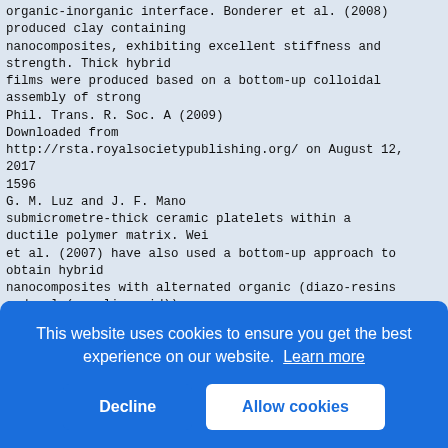organic-inorganic interface. Bonderer et al. (2008) produced clay containing nanocomposites, exhibiting excellent stiffness and strength. Thick hybrid films were produced based on a bottom-up colloidal assembly of strong
Phil. Trans. R. Soc. A (2009)
Downloaded from
http://rsta.royalsocietypublishing.org/ on August 12, 2017
1596
G. M. Luz and J. F. Mano
submicrometre-thick ceramic platelets within a ductile polymer matrix. Wei et al. (2007) have also used a bottom-up approach to obtain hybrid nanocomposites with alternated organic (diazo-resins and poly(acrylic acid)) and inorganic (CaCO3 strata) layers, produced, respectively, by layer-by-layer and CO2 diffusion methods.
Such
and
of b
for
or m
(b )
Elec
for
nano
nove
comb                    the deposition of charged nanoparticles in suspension
This website uses cookies to ensure you get the best experience on our website. Learn more
Decline    Allow cookies